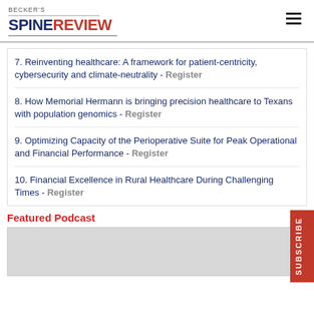BECKER'S SPINE REVIEW
7. Reinventing healthcare: A framework for patient-centricity, cybersecurity and climate-neutrality - Register
8. How Memorial Hermann is bringing precision healthcare to Texans with population genomics - Register
9. Optimizing Capacity of the Perioperative Suite for Peak Operational and Financial Performance - Register
10. Financial Excellence in Rural Healthcare During Challenging Times - Register
Featured Podcast
[Figure (photo): Gray placeholder image for featured podcast thumbnail]